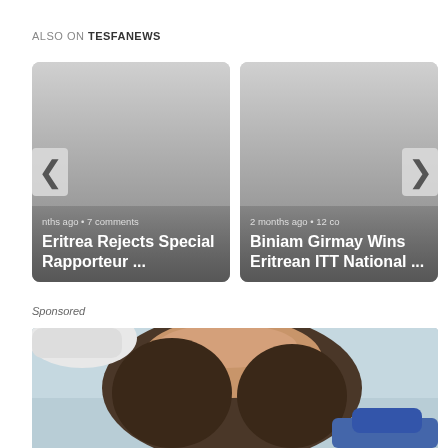ALSO ON TESFANEWS
[Figure (screenshot): Card showing article: nths ago • 7 comments — Eritrea Rejects Special Rapporteur ...]
[Figure (screenshot): Card showing article: 2 months ago • 12 co... — Biniam Girmay Wins Eritrean ITT National ...]
Sponsored
[Figure (photo): Photo of a young woman with dark hair looking up, with a gloved hand visible at bottom right, against a light blue background. Medical/dental context.]